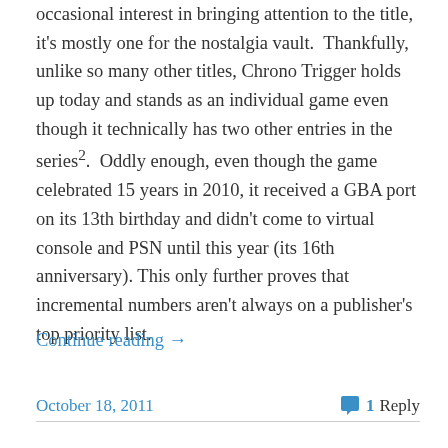occasional interest in bringing attention to the title, it's mostly one for the nostalgia vault.  Thankfully, unlike so many other titles, Chrono Trigger holds up today and stands as an individual game even though it technically has two other entries in the series².  Oddly enough, even though the game celebrated 15 years in 2010, it received a GBA port on its 13th birthday and didn't come to virtual console and PSN until this year (its 16th anniversary). This only further proves that incremental numbers aren't always on a publisher's top priority list.
Continue reading →
October 18, 2011
1 Reply